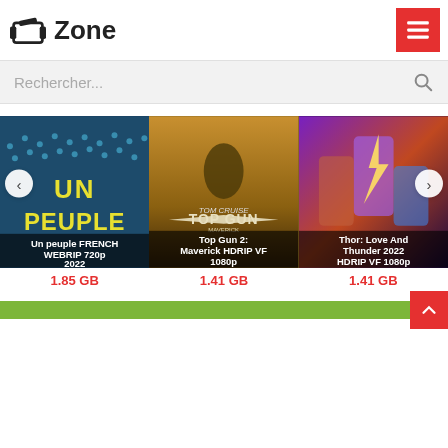Zone
Rechercher...
[Figure (screenshot): Movie card: Un peuple FRENCH WEBRIP 720p 2022 - 1.85 GB]
[Figure (screenshot): Movie card: Top Gun 2: Maverick HDRIP VF 1080p - 1.41 GB]
[Figure (screenshot): Movie card: Thor: Love And Thunder 2022 HDRIP VF 1080p - 1.41 GB]